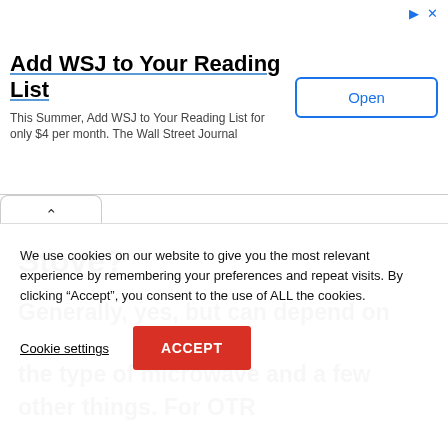[Figure (screenshot): Advertisement banner for WSJ (Wall Street Journal) with title, subtitle, and Open button]
Stove?
Generally, yes, but can depend on the type of microwave and a few other things. For OTR
We use cookies on our website to give you the most relevant experience by remembering your preferences and repeat visits. By clicking “Accept”, you consent to the use of ALL the cookies.
Cookie settings
ACCEPT